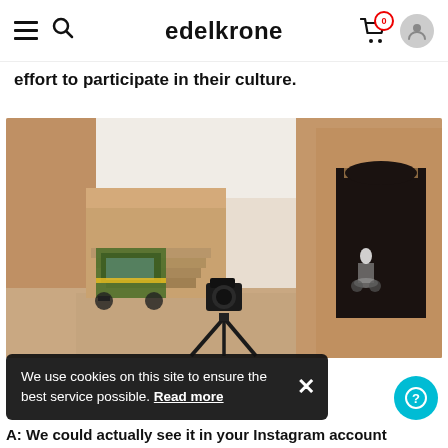edelkrone
effort to participate in their culture.
[Figure (photo): A camera on a tripod set up in a historic stone courtyard or fort, with an auto-rickshaw passing on the left and a motorcyclist approaching through a large stone archway on the right. Sandy stone walls surround the scene.]
We use cookies on this site to ensure the best service possible. Read more
A: We could actually see it in your Instagram account